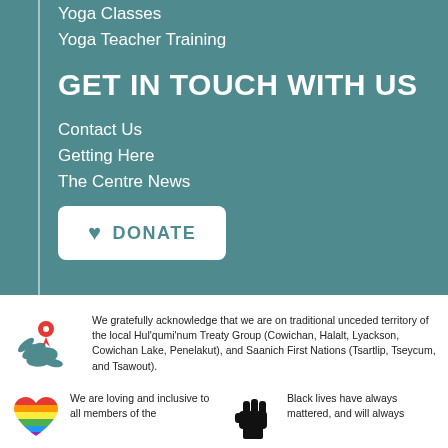Yoga Classes
Yoga Teacher Training
GET IN TOUCH WITH US
Contact Us
Getting Here
The Centre News
[Figure (illustration): White rounded rectangle button with a teal heart icon and bold teal text reading DONATE]
[Figure (illustration): Teal bird/dove icon with a red map pin location marker on top]
We gratefully acknowledge that we are on traditional unceded territory of the local Hul'qumi'num Treaty Group (Cowichan, Halalt, Lyackson, Cowichan Lake, Penelakut), and Saanich First Nations (Tsartlip, Tseycum, and Tsawout).
[Figure (illustration): Rainbow pride heart icon]
We are loving and inclusive to all members of the
[Figure (illustration): Black raised fist icon]
Black lives have always mattered, and will always